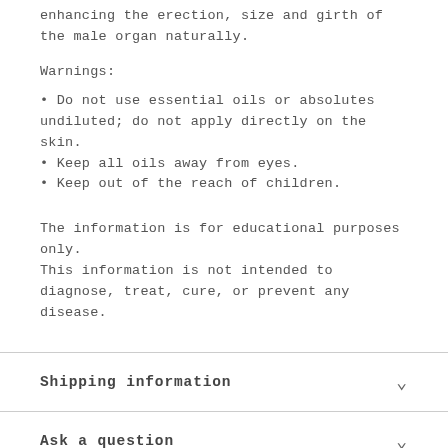enhancing the erection, size and girth of the male organ naturally.
Warnings:
Do not use essential oils or absolutes undiluted; do not apply directly on the skin.
Keep all oils away from eyes.
Keep out of the reach of children.
The information is for educational purposes only. This information is not intended to diagnose, treat, cure, or prevent any disease.
Shipping information
Ask a question
You may also like